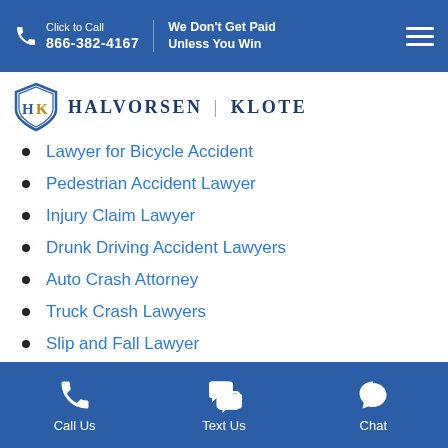Click to Call 866-382-4167 | We Don't Get Paid Unless You Win
[Figure (logo): Halvorsen Klote law firm shield logo with HK initials and firm name]
Lawyer for Bicycle Accident
Pedestrian Accident Lawyer
Injury Claim Lawyer
Drunk Driving Accident Lawyers
Auto Crash Attorney
Truck Crash Lawyers
Slip and Fall Lawyer
Call Us | Text Us | Chat